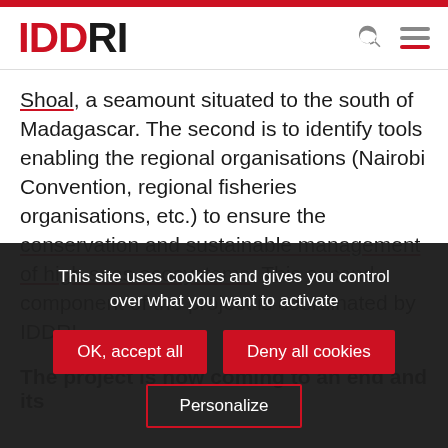IDDRI
Shoal, a seamount situated to the south of Madagascar. The second is to identify tools enabling the regional organisations (Nairobi Convention, regional fisheries organisations, etc.) to ensure the conservation and sustainable management of high seas ecosystems. This second component of the project is coordinated by IDDRI.
The project is now coming to an end and its
This site uses cookies and gives you control over what you want to activate
OK, accept all
Deny all cookies
Personalize